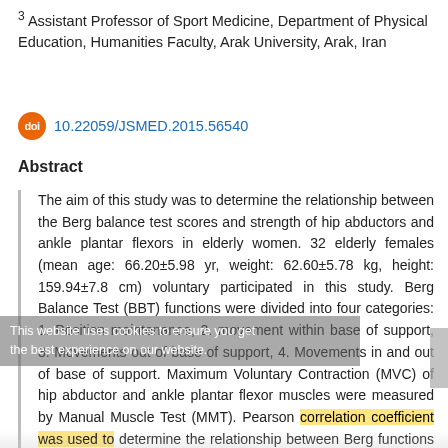3 Assistant Professor of Sport Medicine, Department of Physical Education, Humanities Faculty, Arak University, Arak, Iran
doi 10.22059/JSMED.2015.56540
Abstract
The aim of this study was to determine the relationship between the Berg balance test scores and strength of hip abductors and ankle plantar flexors in elderly women. 32 elderly females (mean age: 66.20±5.98 yr, weight: 62.60±5.78 kg, height: 159.94±7.8 cm) voluntary participated in this study. Berg Balance Test (BBT) functions were divided into four categories: 1. Position maintenance, 2. movement within base of support, 3. Movements out of base of support, 4. Movements in and out of base of support. Maximum Voluntary Contraction (MVC) of hip abductor and ankle plantar flexor muscles were measured by Manual Muscle Test (MMT). Pearson correlation coefficient was used to determine the relationship between Berg functions and muscle strength at significance level of 0.05. Results showed a significant relationship between hip abductors and